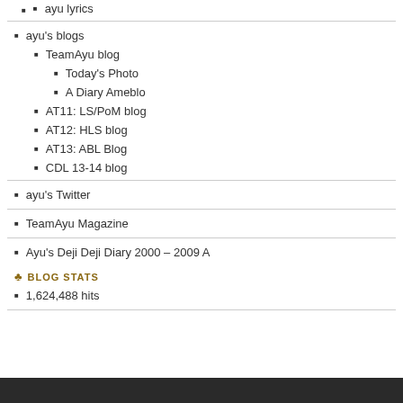ayu lyrics
ayu's blogs
TeamAyu blog
Today's Photo
A Diary Ameblo
AT11: LS/PoM blog
AT12: HLS blog
AT13: ABL Blog
CDL 13-14 blog
ayu's Twitter
TeamAyu Magazine
Ayu's Deji Deji Diary 2000 – 2009 A
BLOG STATS
1,624,488 hits